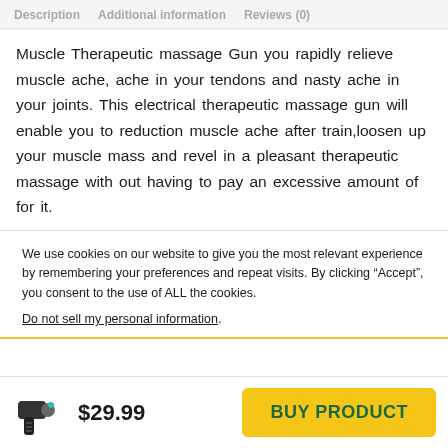Description   Additional information   Reviews (0)
Muscle Therapeutic massage Gun you rapidly relieve muscle ache, ache in your tendons and nasty ache in your joints. This electrical therapeutic massage gun will enable you to reduction muscle ache after train,loosen up your muscle mass and revel in a pleasant therapeutic massage with out having to pay an excessive amount of for it.
We use cookies on our website to give you the most relevant experience by remembering your preferences and repeat visits. By clicking “Accept”, you consent to the use of ALL the cookies.
Do not sell my personal information.
[Figure (logo): Massage gun product logo icon]
$29.99
BUY PRODUCT